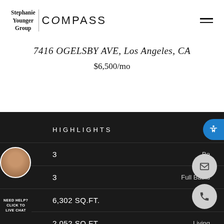Stephanie Younger Group | COMPASS
7416 OGELSBY AVE, Los Angeles, CA
$6,500/mo
HIGHLIGHTS
| Value | Label |
| --- | --- |
| 3 | Bedrooms |
| 3 | Full Baths |
| 6,302 SQ.FT. | Lot |
| 2,052 SQ.FT. | Living |